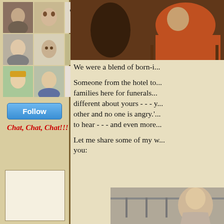[Figure (photo): Grid of 9 avatar/profile photos in a 3x3 arrangement in the left sidebar]
[Figure (other): Blue Follow button]
Chat, Chat, Chat!!!
[Figure (screenshot): Empty chat box/widget area]
[Figure (photo): Photo of a person in an orange hoodie seated, with dark background]
We were a blend of born-i...
Someone from the hotel to... families here for funerals. ... different about yours - - - y... other and no one is angry.'... to hear - - - and even more...
Let me share some of my w... you:
[Figure (photo): Photo of a woman with long hair in front of a clothing rack]